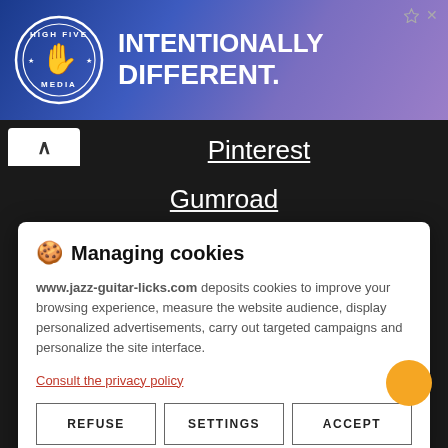[Figure (illustration): High Five Media advertisement banner with logo and text INTENTIONALLY DIFFERENT on blue-purple gradient background]
Pinterest
Gumroad
STAY IN TOUCH
🍪 Managing cookies
www.jazz-guitar-licks.com deposits cookies to improve your browsing experience, measure the website audience, display personalized advertisements, carry out targeted campaigns and personalize the site interface.
Consult the privacy policy
REFUSE
SETTINGS
ACCEPT
Donate